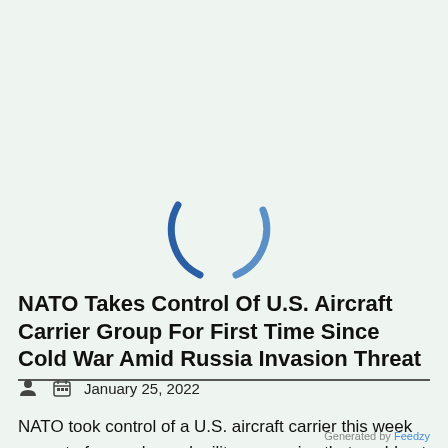[Figure (other): Partial circular loading spinner graphic — two curved dark blue arc segments forming an incomplete circle, displayed over a light green background.]
NATO Takes Control Of U.S. Aircraft Carrier Group For First Time Since Cold War Amid Russia Invasion Threat
January 25, 2022
NATO took control of a U.S. aircraft carrier this week as part of a preplanned military exercise that could not have come at a better time as it projects
Generated by Feedzy